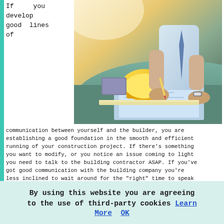If you develop good lines of
[Figure (photo): Construction scene showing a person in business attire working over blueprints on a table with a yellow hard hat and construction tools nearby]
communication between yourself and the builder, you are establishing a good foundation in the smooth and efficient running of your construction project. If there's something you want to modify, or you notice an issue coming to light you need to talk to the building contractor ASAP. If you've got good communication with the building company you're less inclined to wait around for the "right" time to speak with them, particularly as the longer a problem is left, the more difficult it is to put right.

For bigger building projects you need to appreciate that
By using this website you are agreeing to the use of third-party cookies Learn More  OK